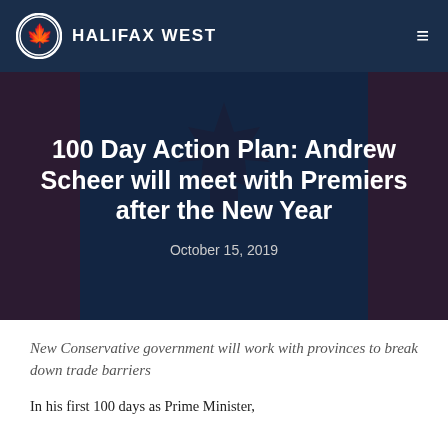HALIFAX WEST
100 Day Action Plan: Andrew Scheer will meet with Premiers after the New Year
October 15, 2019
New Conservative government will work with provinces to break down trade barriers
In his first 100 days as Prime Minister,